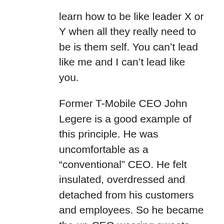learn how to be like leader X or Y when all they really need to be is them self. You can't lead like me and I can't lead like you.
Former T-Mobile CEO John Legere is a good example of this principle. He was uncomfortable as a “conventional” CEO. He felt insulated, overdressed and detached from his customers and employees. So he became the un-CEO wearing sweats and sneakers while connecting with customers and employees through a variety of means, including his Slow Cooker Sunday events.
Nominate an exceptional leader today